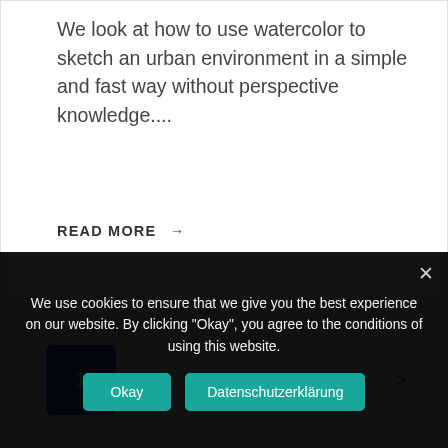We look at how to use watercolor to sketch an urban environment in a simple and fast way without perspective knowledge....
READ MORE →
1  2  3  4  >
Search ...
We use cookies to ensure that we give you the best experience on our website. By clicking "Okay", you agree to the conditions of using this website.
Okay
Datenschutzerklärung